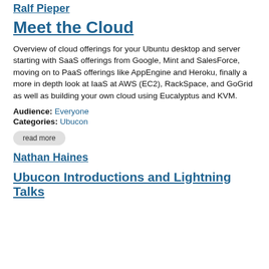Ralf Pieper
Meet the Cloud
Overview of cloud offerings for your Ubuntu desktop and server starting with SaaS offerings from Google, Mint and SalesForce, moving on to PaaS offerings like AppEngine and Heroku, finally a more in depth look at IaaS at AWS (EC2), RackSpace, and GoGrid as well as building your own cloud using Eucalyptus and KVM.
Audience: Everyone
Categories: Ubucon
read more
Nathan Haines
Ubucon Introductions and Lightning Talks